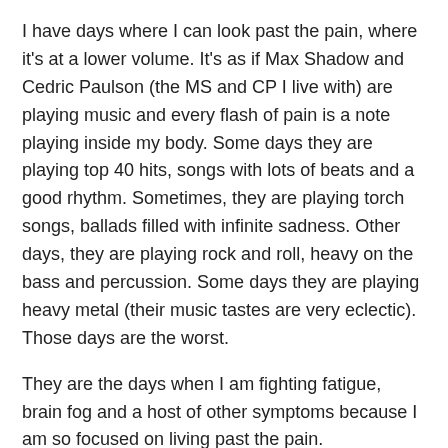I have days where I can look past the pain, where it's at a lower volume. It's as if Max Shadow and Cedric Paulson (the MS and CP I live with) are playing music and every flash of pain is a note playing inside my body. Some days they are playing top 40 hits, songs with lots of beats and a good rhythm. Sometimes, they are playing torch songs, ballads filled with infinite sadness. Other days, they are playing rock and roll, heavy on the bass and percussion. Some days they are playing heavy metal (their music tastes are very eclectic). Those days are the worst.
They are the days when I am fighting fatigue, brain fog and a host of other symptoms because I am so focused on living past the pain.
Today is one of heavy metal days. But here I am, sitting